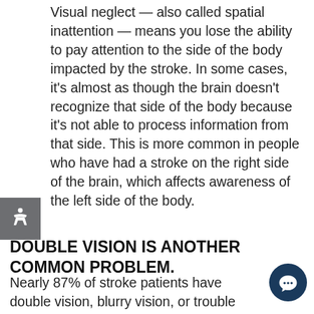Visual neglect — also called spatial inattention — means you lose the ability to pay attention to the side of the body impacted by the stroke. In some cases, it's almost as though the brain doesn't recognize that side of the body because it's not able to process information from that side. This is more common in people who have had a stroke on the right side of the brain, which affects awareness of the left side of the body.
DOUBLE VISION IS ANOTHER COMMON PROBLEM.
Nearly 87% of stroke patients have double vision, blurry vision, or trouble tracking, known as oculomotor dysfunction. This leads to a loss of depth perception and can cause trouble walking, reading, and participating in